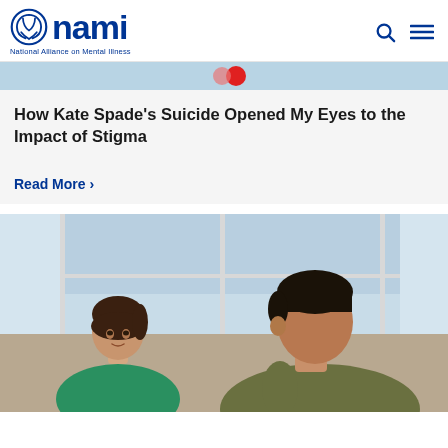NAMI - National Alliance on Mental Illness
[Figure (photo): Partial view of a NAMI article card with a light blue image strip at the top showing partial social sharing icons]
How Kate Spade’s Suicide Opened My Eyes to the Impact of Stigma
Read More ›
[Figure (photo): A woman in a green shirt and a man in an olive/khaki shirt sitting across from each other in a bright room with large windows, appearing to have a serious conversation. The man is looking downward.]